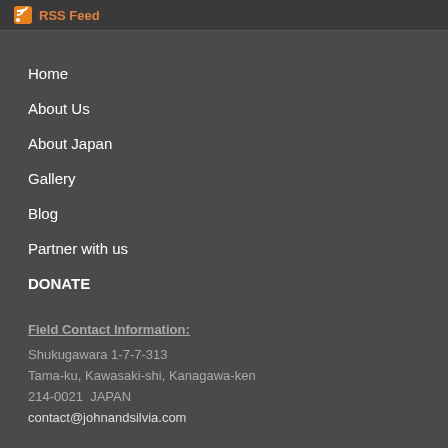RSS Feed
Home
About Us
About Japan
Gallery
Blog
Partner with us
DONATE
Field Contact Information:
Shukugawara 1-7-7-313
Tama-ku, Kawasaki-shi, Kanagawa-ken
214-0021  JAPAN
contact@johnandsilvia.com
SITE EM PORTUGUÊS